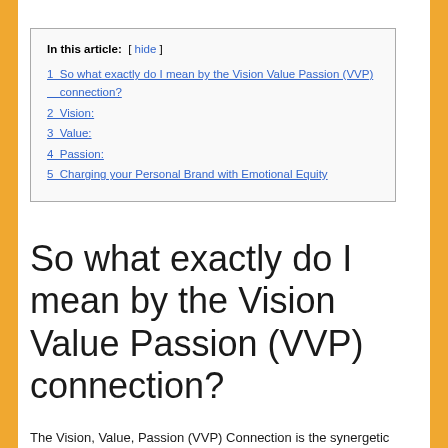| In this article: |
| --- |
| 1 So what exactly do I mean by the Vision Value Passion (VVP) connection? |
| 2 Vision: |
| 3 Value: |
| 4 Passion: |
| 5 Charging your Personal Brand with Emotional Equity |
So what exactly do I mean by the Vision Value Passion (VVP) connection?
The Vision, Value, Passion (VVP) Connection is the synergetic